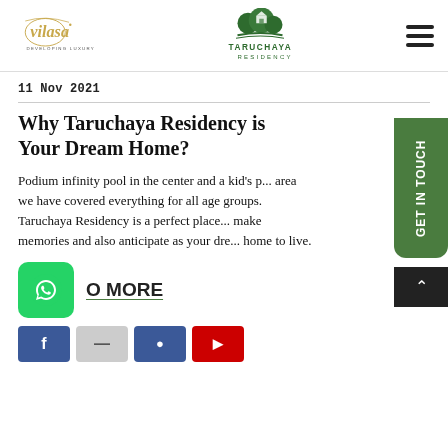Vilasa Developing Luxury | Taruchaya Residency
11 Nov 2021
Why Taruchaya Residency is Your Dream Home?
Podium infinity pool in the center and a kid's play area we have covered everything for all age groups. Taruchaya Residency is a perfect place to make memories and also anticipate as your dream home to live.
READ MORE
[Figure (logo): Social share buttons: Facebook, Twitter, Google+, YouTube]